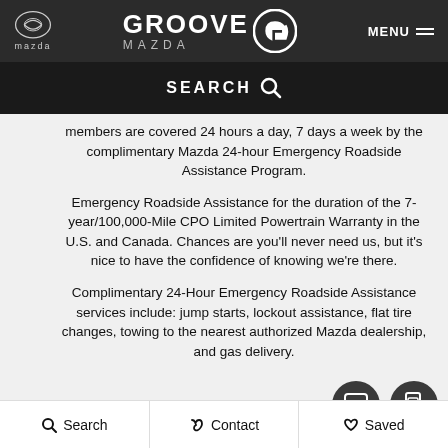[Figure (logo): Groove Mazda dealership website header with Mazda logo on left, Groove Mazda logo in center, and MENU button on right, dark background]
SEARCH
members are covered 24 hours a day, 7 days a week by the complimentary Mazda 24-hour Emergency Roadside Assistance Program.
Emergency Roadside Assistance for the duration of the 7-year/100,000-Mile CPO Limited Powertrain Warranty in the U.S. and Canada. Chances are you'll never need us, but it's nice to have the confidence of knowing we're there.
Complimentary 24-Hour Emergency Roadside Assistance services include: jump starts, lockout assistance, flat tire changes, towing to the nearest authorized Mazda dealership, and gas delivery.
Search   Contact   Saved